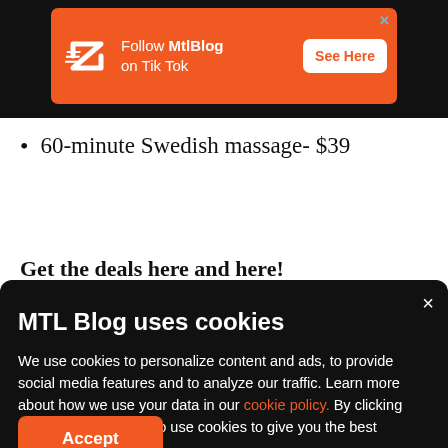[Figure (screenshot): Orange advertisement banner for MtlBlog TikTok with logo, text 'Follow MtlBlog on Tik Tok', white 'See Here' button, and blue X close icon]
60-minute Swedish massage- $39
Get the deals here and here!
MTL Blog uses cookies
We use cookies to personalize content and ads, to provide social media features and to analyze our traffic. Learn more about how we use your data in our cookie policy. By clicking Accept, you allow us to use cookies to give you the best experience on site.
Accept